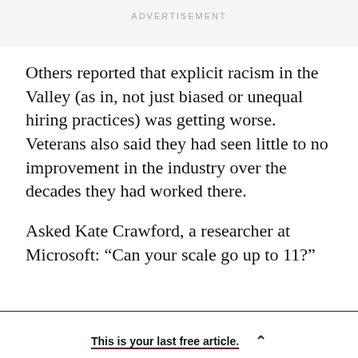ADVERTISEMENT
Others reported that explicit racism in the Valley (as in, not just biased or unequal hiring practices) was getting worse. Veterans also said they had seen little to no improvement in the industry over the decades they had worked there.
Asked Kate Crawford, a researcher at Microsoft: “Can your scale go up to 11?”
This is your last free article.